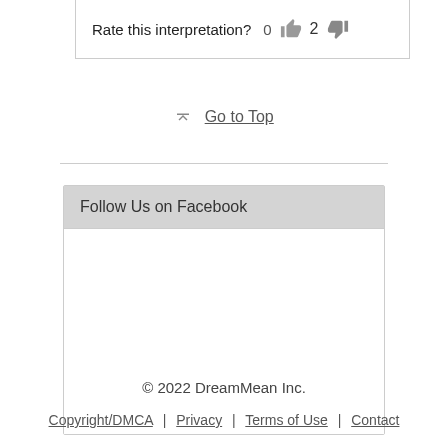Rate this interpretation? 0 👍 2 👎
⬆ Go to Top
Follow Us on Facebook
© 2022 DreamMean Inc.
Copyright/DMCA | Privacy | Terms of Use | Contact